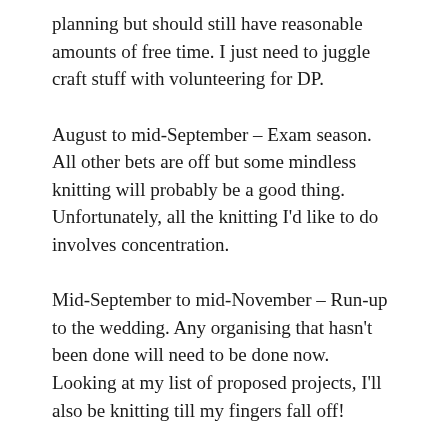planning but should still have reasonable amounts of free time. I just need to juggle craft stuff with volunteering for DP.
August to mid-September – Exam season. All other bets are off but some mindless knitting will probably be a good thing. Unfortunately, all the knitting I'd like to do involves concentration.
Mid-September to mid-November – Run-up to the wedding. Any organising that hasn't been done will need to be done now. Looking at my list of proposed projects, I'll also be knitting till my fingers fall off!